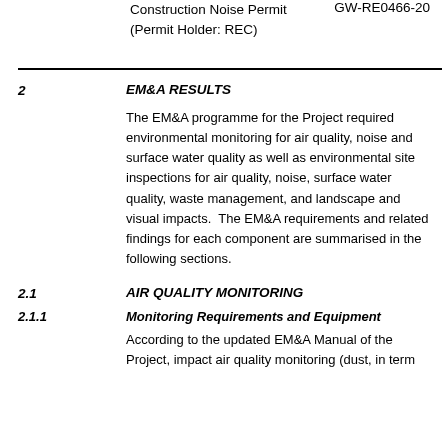Construction Noise Permit (Permit Holder: REC)    GW-RE0466-20
2    EM&A RESULTS
The EM&A programme for the Project required environmental monitoring for air quality, noise and surface water quality as well as environmental site inspections for air quality, noise, surface water quality, waste management, and landscape and visual impacts.  The EM&A requirements and related findings for each component are summarised in the following sections.
2.1    AIR QUALITY MONITORING
2.1.1    Monitoring Requirements and Equipment
According to the updated EM&A Manual of the Project, impact air quality monitoring (dust, in term